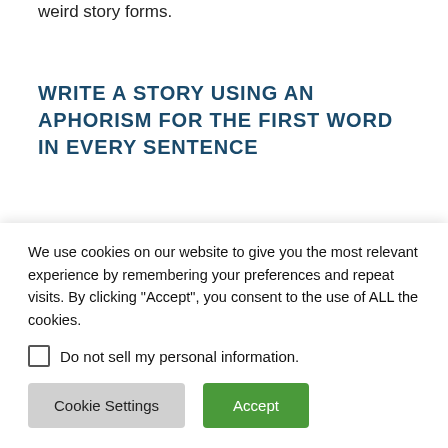weird story forms.
WRITE A STORY USING AN APHORISM FOR THE FIRST WORD IN EVERY SENTENCE
PLACES TO FIND APHORISMS
A list of 1000 English Ph...
We use cookies on our website to give you the most relevant experience by remembering your preferences and repeat visits. By clicking “Accept”, you consent to the use of ALL the cookies.
Do not sell my personal information.
Cookie Settings
Accept